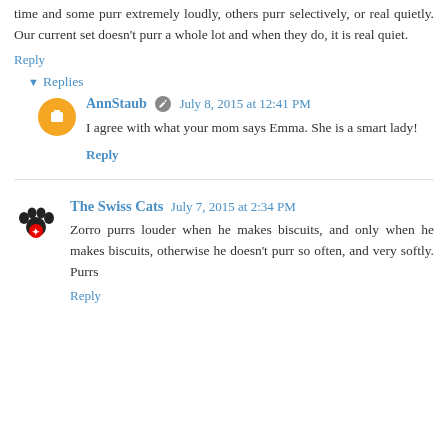time and some purr extremely loudly, others purr selectively, or real quietly. Our current set doesn't purr a whole lot and when they do, it is real quiet.
Reply
▾ Replies
AnnStaub  July 8, 2015 at 12:41 PM
I agree with what your mom says Emma. She is a smart lady!
Reply
The Swiss Cats  July 7, 2015 at 2:34 PM
Zorro purrs louder when he makes biscuits, and only when he makes biscuits, otherwise he doesn't purr so often, and very softly. Purrs
Reply